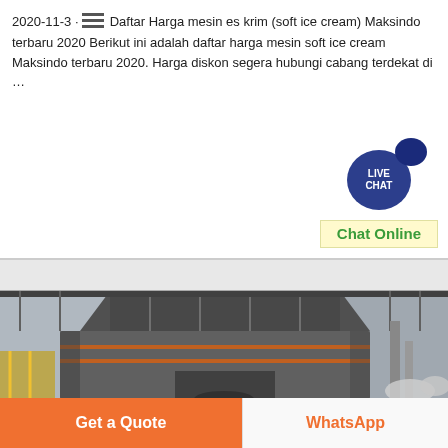2020-11-3 · Daftar Harga mesin es krim (soft ice cream) Maksindo terbaru 2020 Berikut ini adalah daftar harga mesin soft ice cream Maksindo terbaru 2020. Harga diskon segera hubungi cabang terdekat di …
[Figure (screenshot): Live Chat button with dark blue speech bubble icon and 'Chat Online' text on light yellow background]
[Figure (photo): Industrial machine (large grey vertical mill or crusher) photographed from front, installed outdoors on a platform with metal railing, pipes and yellow safety rails visible]
Get a Quote
WhatsApp